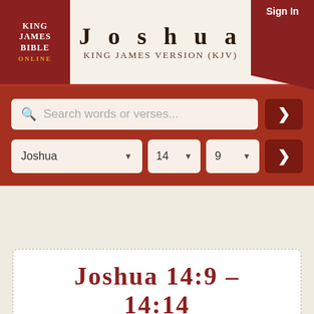[Figure (logo): King James Bible Online logo, dark red background with white text]
Joshua
King James Version (KJV)
[Figure (screenshot): Sign In button in dark red corner banner]
[Figure (screenshot): Search bar with placeholder 'Search words or verses...' and a go button with arrow]
[Figure (screenshot): Book/chapter/verse selectors: Joshua, 14, 9, with go button]
Joshua 14:9 – 14:14